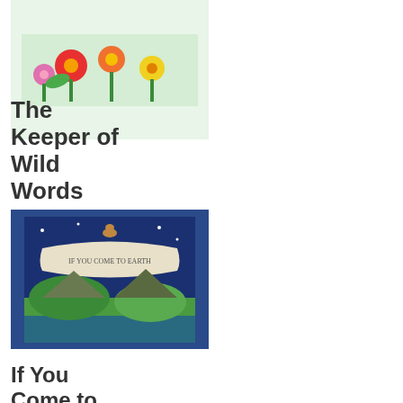[Figure (illustration): Book cover for The Keeper of Wild Words showing colorful flowers on a light background]
The Keeper of Wild Words
$18.99
[Figure (illustration): Book cover for If You Come to Earth showing a dark blue background with a banner scroll and colorful landscape]
If You Come to Earth
$18.99
[Figure (illustration): Book cover showing an orange/pink background with a child and plants]